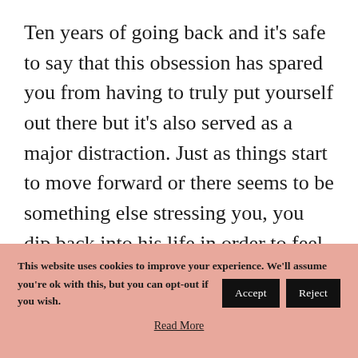Ten years of going back and it's safe to say that this obsession has spared you from having to truly put yourself out there but it's also served as a major distraction. Just as things start to move forward or there seems to be something else stressing you, you dip back into his life in order to feel in control again. I imagine that fear of being taken advantage of, fear of having to sacrifice anything else means that while on one
This website uses cookies to improve your experience. We'll assume you're ok with this, but you can opt-out if you wish. [Accept] [Reject]
Read More